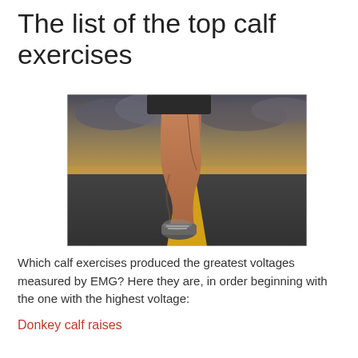The list of the top calf exercises
[Figure (photo): A runner's legs from behind on a road with a yellow center line, dramatic cloudy sky, showcasing muscular calf muscles]
Which calf exercises produced the greatest voltages measured by EMG? Here they are, in order beginning with the one with the highest voltage:
Donkey calf raises